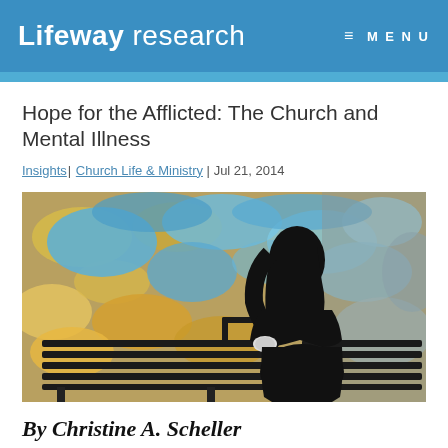Lifeway research  ≡ MENU
Hope for the Afflicted: The Church and Mental Illness
Insights| Church Life & Ministry | Jul 21, 2014
[Figure (photo): Artistic photo of a woman in silhouette sitting on a bench against a colorful painted stone wall with blue and yellow tones]
By Christine A. Scheller
Would it surprise you to learn that every fourth